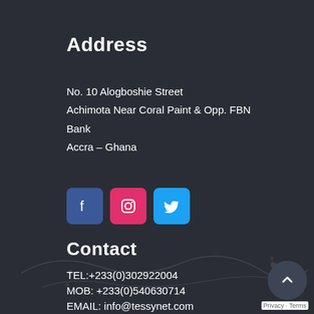Address
No. 10 Alogboshie Street
Achimota Near Coral Paint & Opp. FBN Bank
Accra – Ghana
[Figure (other): Social media icons: Facebook (blue), Instagram (pink/red), Twitter (light blue)]
Contact
TEL:+233(0)302922004
MOB: +233(0)540630714
EMAIL: info@tessynet.com